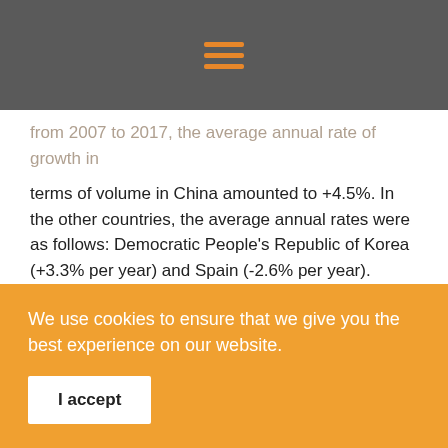[hamburger menu icon]
from 2007 to 2017, the average annual rate of growth in terms of volume in China amounted to +4.5%. In the other countries, the average annual rates were as follows: Democratic People's Republic of Korea (+3.3% per year) and Spain (-2.6% per year).
Imports from 2007–2017
In 2017, the amount of rabbit or hare meat imported worldwide stood at 36K tonnes, lowering by -1.8% against the previous year. In general, rabbit meat imports continue to decline slightly on the do The number approximately
We use cookies to ensure that we give you the best experience on our website.
I accept